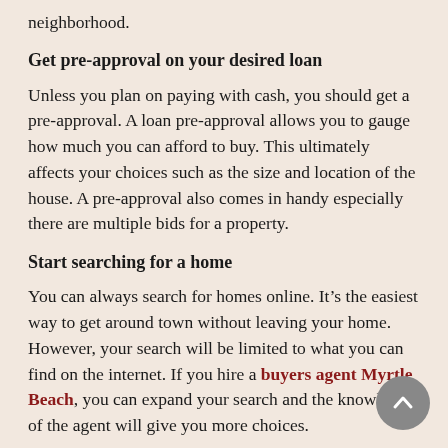neighborhood.
Get pre-approval on your desired loan
Unless you plan on paying with cash, you should get a pre-approval. A loan pre-approval allows you to gauge how much you can afford to buy. This ultimately affects your choices such as the size and location of the house. A pre-approval also comes in handy especially there are multiple bids for a property.
Start searching for a home
You can always search for homes online. It’s the easiest way to get around town without leaving your home. However, your search will be limited to what you can find on the internet. If you hire a buyers agent Myrtle Beach, you can expand your search and the knowledge of the agent will give you more choices.
Make an offer...